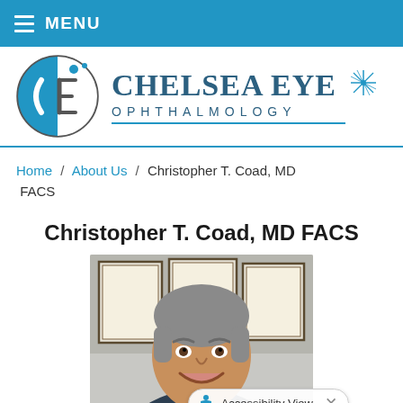MENU
[Figure (logo): Chelsea Eye Ophthalmology logo — circular CE mark on left, large styled text 'Chelsea Eye Ophthalmology' on right]
Home / About Us / Christopher T. Coad, MD FACS
Christopher T. Coad, MD FACS
[Figure (photo): Headshot photo of Christopher T. Coad, MD FACS — a middle-aged man with short grey hair, smiling, wearing a dark top, with framed certificates visible in the background]